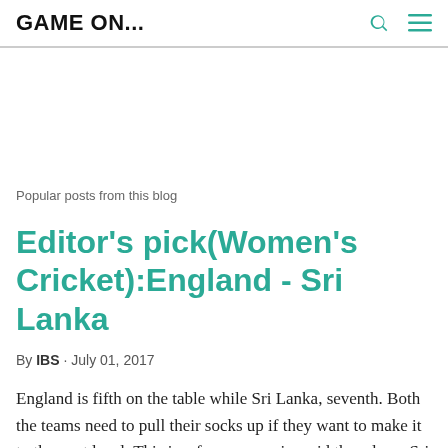GAME ON...
Popular posts from this blog
Editor's pick(Women's Cricket):England - Sri Lanka
By IBS · July 01, 2017
England is fifth on the table while Sri Lanka, seventh. Both the teams need to pull their socks up if they want to make it to the next level. This is, of course, easier said than done. Sri Lanka lost both their matches while England defe...